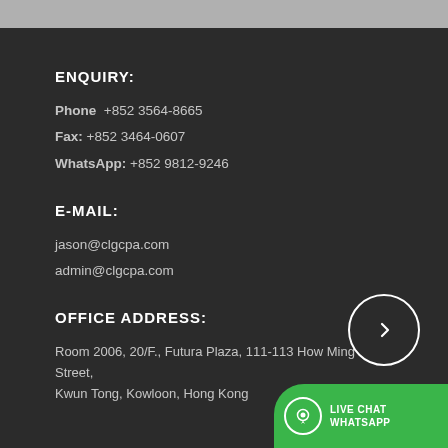ENQUIRY:
Phone  +852 3564-8665
Fax: +852 3464-0607
WhatsApp: +852 9812-9246
E-MAIL:
jason@clgcpa.com
admin@clgcpa.com
OFFICE ADDRESS:
Room 2006, 20/F., Futura Plaza, 111-113 How Ming Street, Kwun Tong, Kowloon, Hong Kong
[Figure (other): Circular navigation button with arrow icon]
[Figure (other): Green rounded Live Chat WhatsApp button with WhatsApp-style icon]